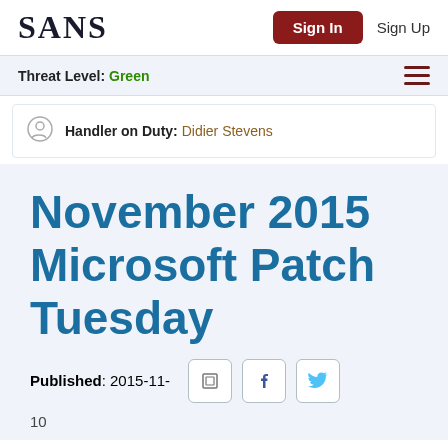SANS | Sign In | Sign Up
Threat Level: Green
Handler on Duty: Didier Stevens
November 2015 Microsoft Patch Tuesday
Published: 2015-11-10